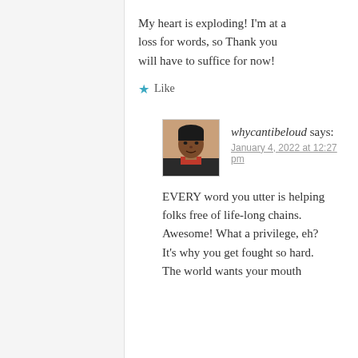My heart is exploding! I’m at a loss for words, so Thank you will have to suffice for now!
★ Like
whycantibeloud says:
January 4, 2022 at 12:27 pm
EVERY word you utter is helping folks free of life-long chains. Awesome! What a privilege, eh? It’s why you get fought so hard. The world wants your mouth